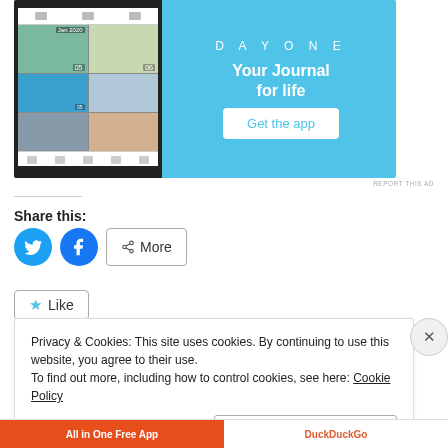[Figure (screenshot): DayOne app advertisement banner showing a smartphone with a photo journal app interface on a light blue background, with text 'DAY ONE', 'Your Journal for life', and a 'Get the app' button]
REPORT THIS AD
Share this:
[Figure (infographic): Twitter and Facebook share buttons (circular blue icons) and a More button with share icon]
[Figure (infographic): Like button with star icon]
Privacy & Cookies: This site uses cookies. By continuing to use this website, you agree to their use. To find out more, including how to control cookies, see here: Cookie Policy
Close and accept
[Figure (infographic): Bottom advertisement strip: 'All in One Free App' on orange background, and DuckDuckGo on white background]